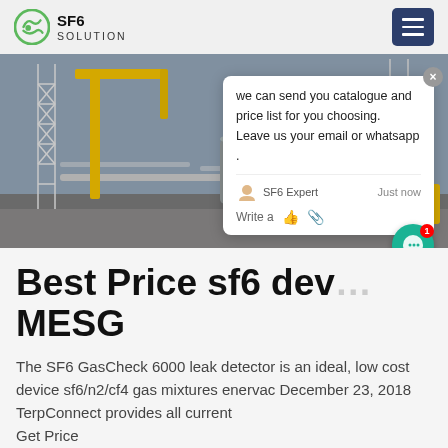SF6 SOLUTION
[Figure (photo): Industrial outdoor electrical substation scene with yellow cranes, white metal lattice structures, pipes, cylindrical equipment, and a yellow truck/vehicle. Photographed from ground level.]
Best Price sf6 device MESG
The SF6 GasCheck 6000 leak detector is an ideal, low cost device sf6/n2/cf4 gas mixtures enervac December 23, 2018 TerpConnect provides all current
Get Price